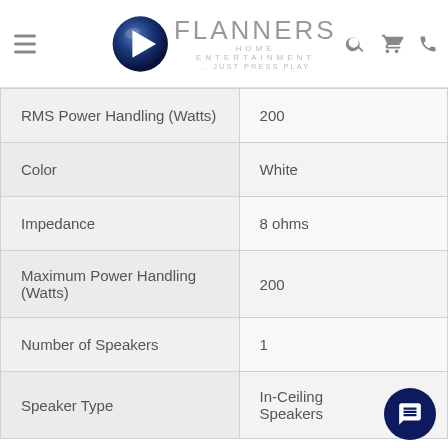Flanners Home Entertainment
| Specification | Value |
| --- | --- |
| RMS Power Handling (Watts) | 200 |
| Color | White |
| Impedance | 8 ohms |
| Maximum Power Handling (Watts) | 200 |
| Number of Speakers | 1 |
| Speaker Type | In-Ceiling Speakers |